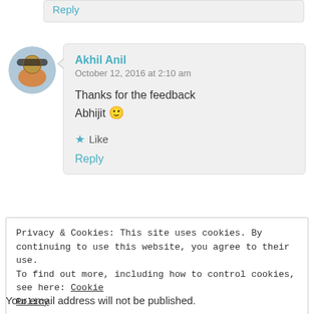Reply
[Figure (photo): Circular avatar of Akhil Anil, showing a person outdoors]
Akhil Anil
October 12, 2016 at 2:10 am

Thanks for the feedback Abhijit 🙂

★ Like

Reply
Privacy & Cookies: This site uses cookies. By continuing to use this website, you agree to their use.
To find out more, including how to control cookies, see here: Cookie Policy
Close and accept
Your email address will not be published.